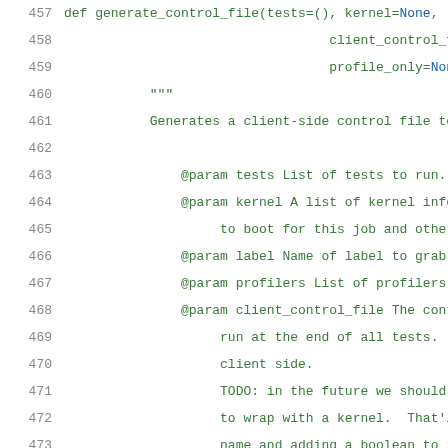[Figure (screenshot): Source code listing showing lines 457-478 of a Python file, displaying the definition and docstring of a generate_control_file function with parameter documentation.]